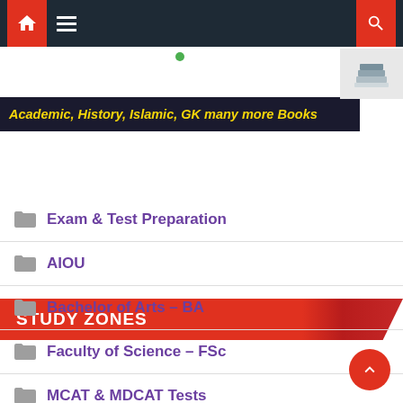Navigation bar with home, menu, and search icons
[Figure (infographic): Dark banner with italic bold yellow text: Academic, History, Islamic, GK many more Books, with book stack icon on the right]
STUDY ZONES
Exam & Test Preparation
AIOU
Bachelor of Arts – BA
Faculty of Science – FSc
MCAT & MDCAT Tests
Exam & Test Tips